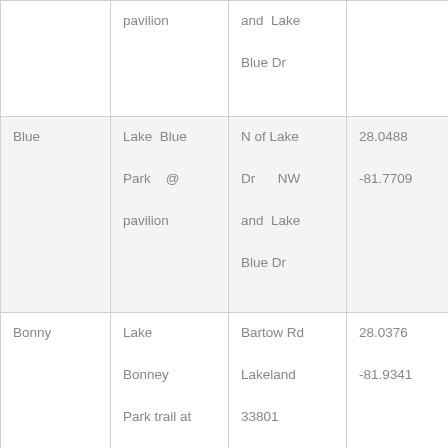|  | pavilion | and Lake

Blue Dr |  |
| Blue | Lake Blue Park @ pavilion | N of Lake Dr NW and Lake Blue Dr | 28.0488
-81.7709 |
| Bonny | Lake Bonney Park trail at N end of boardwalk | Bartow Rd Lakeland 33801 | 28.0376
-81.9341 |
| Bonny | Lake | Bartow Rd | 28.0376 |